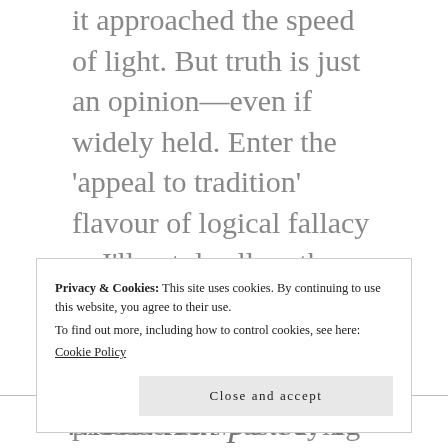it approached the speed of light. But truth is just an opinion—even if widely held. Enter the 'appeal to tradition' flavour of logical fallacy—I'll not dwell on the fact that systems of government are based on this quaint notion of precedents. #JustSaying
Privacy & Cookies: This site uses cookies. By continuing to use this website, you agree to their use.
To find out more, including how to control cookies, see here:
Cookie Policy
Close and accept
rhetorical power to